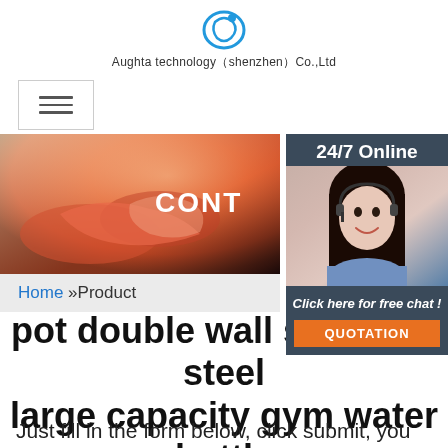[Figure (logo): Circular blue logo icon for Aughta technology]
Aughta technology（shenzhen）Co.,Ltd
[Figure (screenshot): Hamburger menu icon in a bordered box]
[Figure (photo): Banner photo of two people shaking hands with warm lighting, with overlaid text 'CONT']
[Figure (photo): 24/7 Online support agent photo with headset, smiling woman]
Click here for free chat !
QUOTATION
Home »Product
pot double wall stainless steel large capacity gym water bottle
Just fill in the form below, click submit, you will get the price list, and we will contact you within one